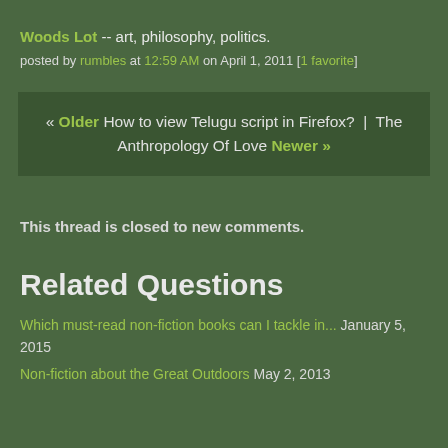Woods Lot -- art, philosophy, politics.
posted by rumbles at 12:59 AM on April 1, 2011 [1 favorite]
« Older How to view Telugu script in Firefox?  |  The Anthropology Of Love Newer »
This thread is closed to new comments.
Related Questions
Which must-read non-fiction books can I tackle in...  January 5, 2015
Non-fiction about the Great Outdoors  May 2, 2013